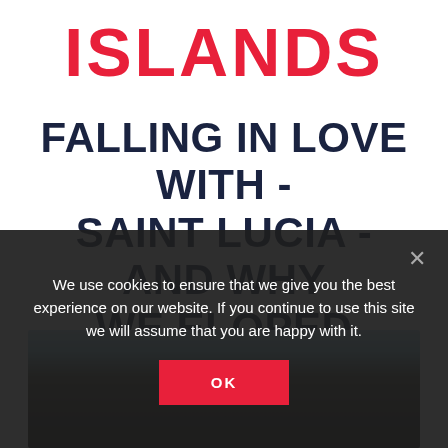ISLANDS
FALLING IN LOVE WITH - SAINT LUCIA - AND WHY WE ELOPED THERE.
[Figure (photo): Partial view of a photo showing sky (light blue) and dark silhouetted figures, partially obscured by cookie consent overlay]
We use cookies to ensure that we give you the best experience on our website. If you continue to use this site we will assume that you are happy with it.
OK